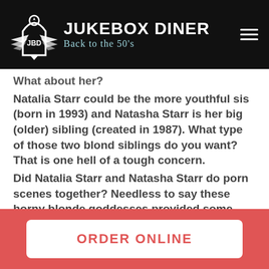[Figure (logo): Jukebox Diner logo with wings and arch emblem, white on black background. Brand name 'Jukebox Diner' in bold white text, tagline 'Back to the 50's' in teal cursive.]
What about her?
Natalia Starr could be the more youthful sis (born in 1993) and Natasha Starr is her big (older) sibling (created in 1987). What type of those two blond siblings do you want? That is one hell of a tough concern.
Did Natalia Starr and Natasha Starr do porn scenes together? Needless to say these horny blonde goddesses provided some dicks together while watching camera lens! well
ORDER ONLINE